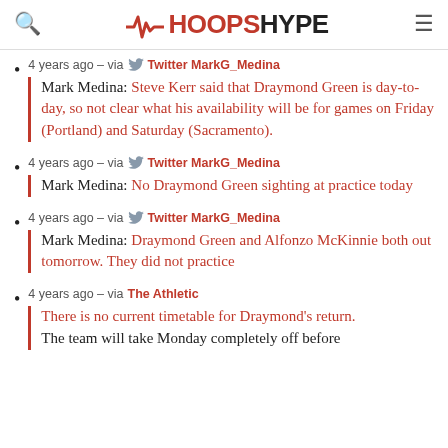HOOPSHYPE
4 years ago – via Twitter MarkG_Medina
Mark Medina: Steve Kerr said that Draymond Green is day-to-day, so not clear what his availability will be for games on Friday (Portland) and Saturday (Sacramento).
4 years ago – via Twitter MarkG_Medina
Mark Medina: No Draymond Green sighting at practice today
4 years ago – via Twitter MarkG_Medina
Mark Medina: Draymond Green and Alfonzo McKinnie both out tomorrow. They did not practice
4 years ago – via The Athletic
There is no current timetable for Draymond's return. The team will take Monday completely off before